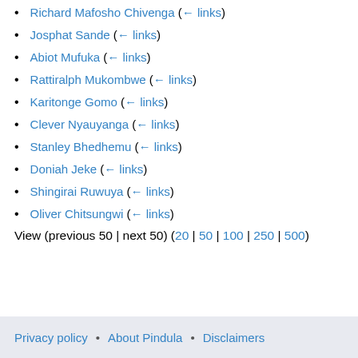Richard Mafosho Chivenga (← links)
Josphat Sande (← links)
Abiot Mufuka (← links)
Rattiralph Mukombwe (← links)
Karitonge Gomo (← links)
Clever Nyauyanga (← links)
Stanley Bhedhemu (← links)
Doniah Jeke (← links)
Shingirai Ruwuya (← links)
Oliver Chitsungwi (← links)
View (previous 50 | next 50) (20 | 50 | 100 | 250 | 500)
Privacy policy • About Pindula • Disclaimers